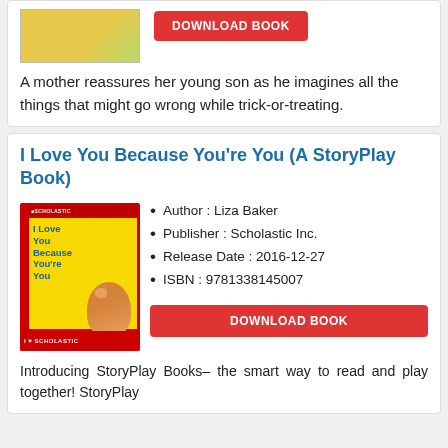[Figure (illustration): Book cover image for a Halloween children's book, partial view at top of page]
DOWNLOAD BOOK
A mother reassures her young son as he imagines all the things that might go wrong while trick-or-treating.
I Love You Because You're You (A StoryPlay Book)
[Figure (illustration): Book cover of 'I Love You Because You're You' published by Scholastic, showing a fox holding a heart on a yellow and red cover]
Author : Liza Baker
Publisher : Scholastic Inc.
Release Date : 2016-12-27
ISBN : 9781338145007
DOWNLOAD BOOK
Introducing StoryPlay Books– the smart way to read and play together! StoryPlay